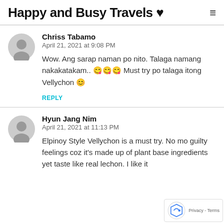Happy and Busy Travels ♥
Chriss Tabamo
April 21, 2021 at 9:08 PM
Wow. Ang sarap naman po nito. Talaga namang nakakatakam.. 😋😋😋 Must try po talaga itong Vellychon 😊
REPLY
Hyun Jang Nim
April 21, 2021 at 11:13 PM
Elpinoy Style Vellychon is a must try. No mo guilty feelings coz it's made up of plant base ingredients yet taste like real lechon. I like it